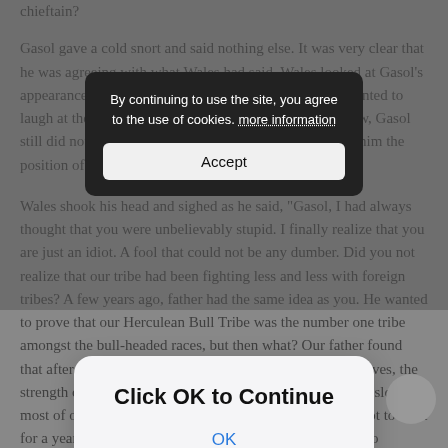chieftain?
Gasol gave a cold snort and said nothing else. It was very clear that he was agreeing with what Wales had said. Wales looked at Gasol's appearance and could not help but to laugh. He really wanted to laugh at the fact that this person was so foolish. Even now, Gasol still did not realize why their father did not want to give him the position of chieftain.
Wales shook his head and sighed as he said, "Gasol, I had always thought that you were unbelievably stupid. I finally realize that you are just an idiot. A fool that could not be any dumber. Did you not realize that our tribe had been fighting less and less with foreign tribes? A few years ago, father had the same idea as you. He wanted to prove that our Herculean Bull Tribe was the number one tribe amongst the bull-headed races, but then what? Our father found that after every expedition, although we obtained many slaves, the strength of our own tribe was slowly being consumed, and slowly, most of our youth were dying out. But because he chose not to fight for a year, the youth population of our tribe slowly began to increase once again. Our father realized this, and chose not to
[Figure (screenshot): Cookie consent banner with dark background, text reading 'By continuing to use the site, you agree to the use of cookies. more information' and an Accept button.]
[Figure (screenshot): Modal dialog with light gray rounded background showing 'Click OK to Continue' heading and 'OK' button in blue.]